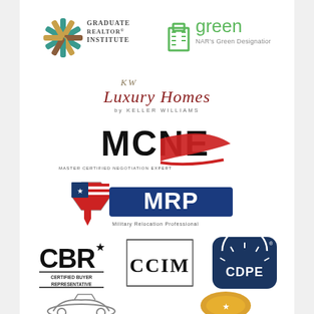[Figure (logo): Graduate Realtor Institute logo — decorative starburst icon with teal/gold colors, text reads GRADUATE REALTOR INSTITUTE]
[Figure (logo): NAR Green Designation logo — green house/building icon with text 'green' and 'NAR's Green Designation']
[Figure (logo): KW Luxury Homes by Keller Williams logo — cursive script text]
[Figure (logo): MCNE logo — bold black letters MCNE with red swoosh and small subtitle text]
[Figure (logo): MRP Military Relocation Professional logo — American flag star ribbon with blue banner MRP and subtitle]
[Figure (logo): CBR Certified Buyer Representative logo — bold letters CBR with star, subtitle text]
[Figure (logo): CCIM logo — black bordered box with CCIM text]
[Figure (logo): CDPE logo — dark navy rounded square with sunburst arc and CDPE text]
[Figure (logo): Partial logo bottom left — appears to be a car/vehicle related real estate certification]
[Figure (logo): Partial logo bottom right — gold/orange colored certification logo]